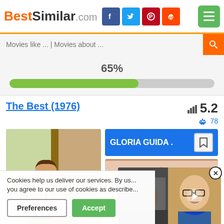BestSimilar.com
Movies like ... | Movies about ...
65%
[Figure (other): Green progress bar at approximately 63% completion on grey track]
The Best (1976)
5.2
78
[Figure (illustration): Movie poster illustration of a man in a beige suit holding an iron]
GLORIA GUIDA
[Figure (photo): Partial image of a red-haired woman]
[Figure (screenshot): Embedded video overlay showing two scenes side by side with a play button]
Cookies help us deliver our services. By us... you agree to our use of cookies as describe...
Preferences
Accept